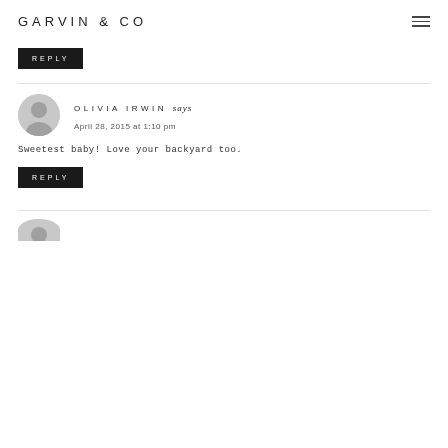GARVIN & CO
REPLY
OLIVIA IRWIN says
April 28, 2015 at 1:10 pm
Sweetest baby! Love your backyard too.
REPLY